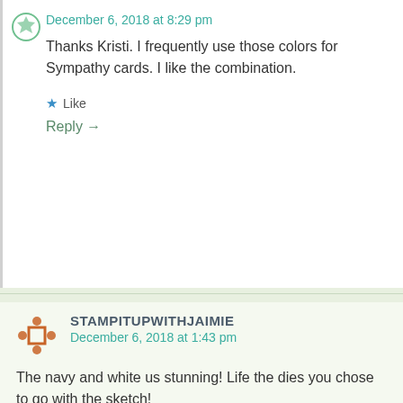December 6, 2018 at 8:29 pm
Thanks Kristi. I frequently use those colors for Sympathy cards. I like the combination.
Like
Reply →
STAMPITUPWITHJAIMIE
December 6, 2018 at 1:43 pm
The navy and white us stunning! Life the dies you chose to go with the sketch!
Like